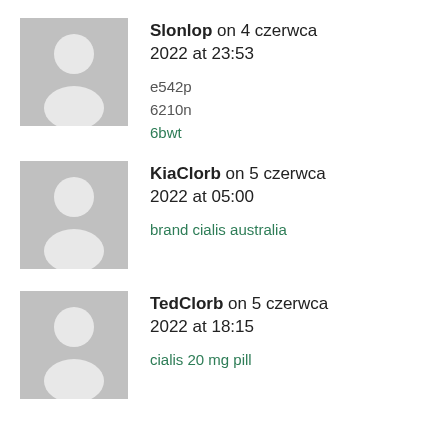[Figure (illustration): Generic user avatar placeholder (grey background with white silhouette of a person)]
Slonlop on 4 czerwca 2022 at 23:53
e542p
6210n
6bwt
[Figure (illustration): Generic user avatar placeholder (grey background with white silhouette of a person)]
KiaClorb on 5 czerwca 2022 at 05:00
brand cialis australia
[Figure (illustration): Generic user avatar placeholder (grey background with white silhouette of a person)]
TedClorb on 5 czerwca 2022 at 18:15
cialis 20 mg pill